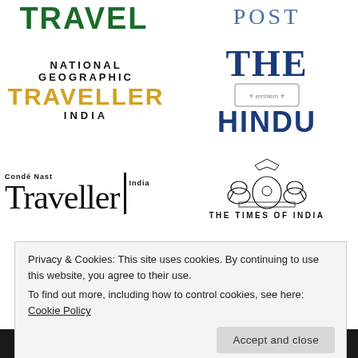[Figure (logo): TRAVEL logo in dark green uppercase letters]
[Figure (logo): POST logo in blue-gray uppercase serif letters]
[Figure (logo): National Geographic Traveller India logo with yellow TRAVELLER text]
[Figure (logo): The Hindu newspaper logo with blue THE HINDU text and emblem]
[Figure (logo): Conde Nast Traveller India logo]
[Figure (logo): The Times of India logo with elephant emblem]
Privacy & Cookies: This site uses cookies. By continuing to use this website, you agree to their use.
To find out more, including how to control cookies, see here:
Cookie Policy
Accept and close